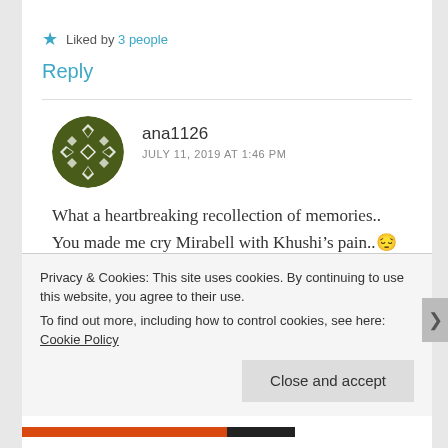★ Liked by 3 people
Reply
ana1126
JULY 11, 2019 AT 1:46 PM
What a heartbreaking recollection of memories.. You made me cry Mirabell with Khushi's pain..😔😔😊
Privacy & Cookies: This site uses cookies. By continuing to use this website, you agree to their use.
To find out more, including how to control cookies, see here: Cookie Policy
Close and accept